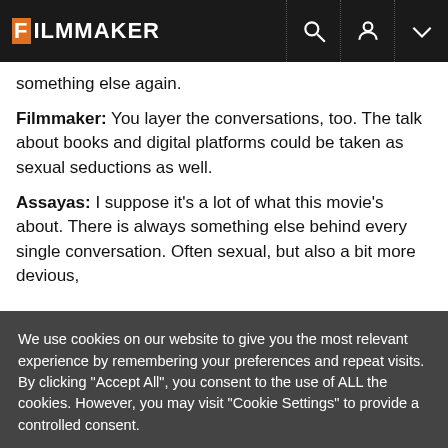FILMMAKER
something else again.
Filmmaker: You layer the conversations, too. The talk about books and digital platforms could be taken as sexual seductions as well.
Assayas: I suppose it’s a lot of what this movie’s about. There is always something else behind every single conversation. Often sexual, but also a bit more devious,
We use cookies on our website to give you the most relevant experience by remembering your preferences and repeat visits. By clicking “Accept All”, you consent to the use of ALL the cookies. However, you may visit "Cookie Settings" to provide a controlled consent.